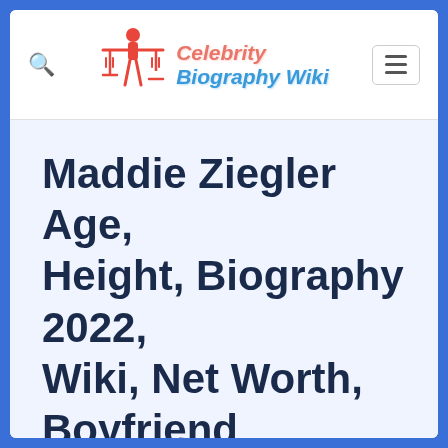Celebrity Biography Wiki
Maddie Ziegler Age, Height, Biography 2022, Wiki, Net Worth, Boyfriend